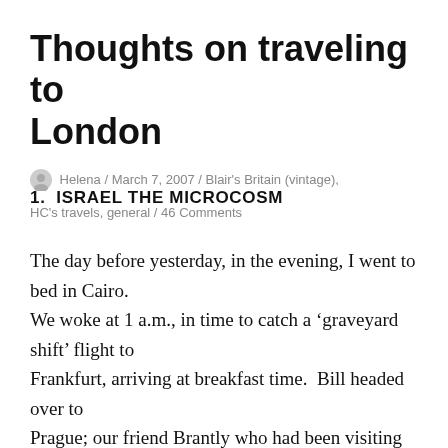Thoughts on traveling to London
Helena / March 7, 2007 / Blair's Britain (vintage), HC's travels, general / 46 Comments
1.  ISRAEL THE MICROCOSM
The day before yesterday, in the evening, I went to bed in Cairo.
We woke at 1 a.m., in time to catch a ‘graveyard shift’ flight to Frankfurt, arriving at breakfast time.  Bill headed over to Prague; our friend Brantly who had been visiting us in Cairo headed home to Virginia; and I came to London,